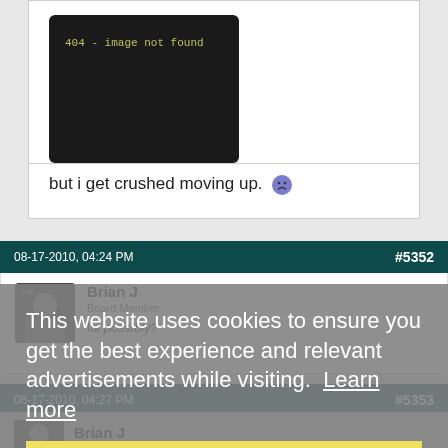[Figure (screenshot): Dark image placeholder box showing '404 - image not found' in yellow-green monospace text on black background]
but i get crushed moving up. :(
08-17-2010, 04:24 PM
#5352
Brian J
Board Member
lol possibly?
This website uses cookies to ensure you get the best experience and relevant advertisements while visiting. Learn more
Got it!
08-17-2010, 04:27 PM
#5353
Brian J